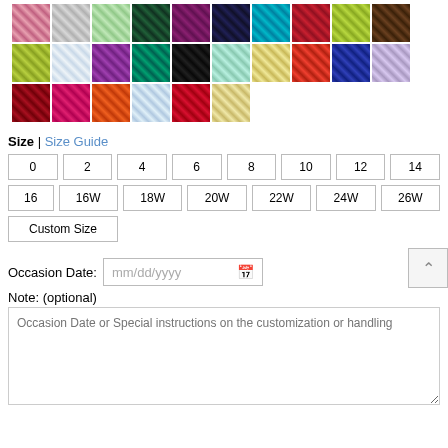[Figure (other): Grid of fabric color swatches in various colors: pink, silver, light green, dark green, purple, navy, teal, red, yellow-green, brown (row 1); lime, white/light blue, purple, teal/green, black, mint, yellow, red, navy blue, lavender (row 2); dark red, hot pink, orange, light blue, crimson, blonde/golden (row 3).]
Size | Size Guide
0  2  4  6  8  10  12  14  16  16W  18W  20W  22W  24W  26W  Custom Size
Occasion Date:  mm/dd/yyyy
Note: (optional)
Occasion Date or Special instructions on the customization or handling